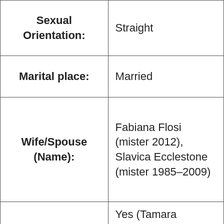| Field | Value |
| --- | --- |
| Sexual Orientation: | Straight |
| Marital place: | Married |
| Wife/Spouse (Name): | Fabiana Flosi (mister 2012), Slavica Ecclestone (mister 1985–2009) |
| Children: | Yes (Tamara Ecclestone, Petra Ecclestone, Deborah |